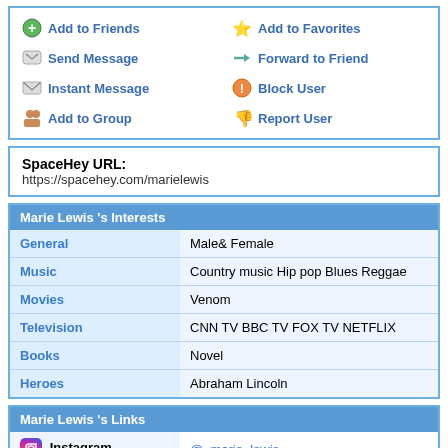Add to Friends
Add to Favorites
Send Message
Forward to Friend
Instant Message
Block User
Add to Group
Report User
SpaceHey URL: https://spacehey.com/marielewis
Marie Lewis 's Interests
| Category | Value |
| --- | --- |
| General | Male& Female |
| Music | Country music Hip pop Blues Reggae |
| Movies | Venom |
| Television | CNN TV BBC TV FOX TV NETFLIX |
| Books | Novel |
| Heroes | Abraham Lincoln |
Marie Lewis 's Links
| Platform | Handle |
| --- | --- |
| Instagram | @_marie_lewis__ |
| Twitter | @_marie_lewis |
| Facebook | @kaylea.reaanna |
|  |  |